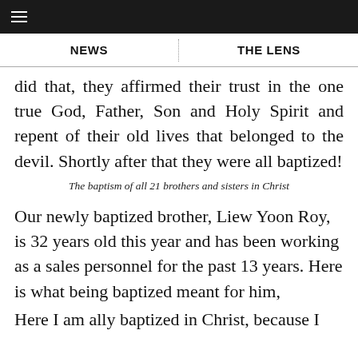NEWS | THE LENS
did that, they affirmed their trust in the one true God, Father, Son and Holy Spirit and repent of their old lives that belonged to the devil. Shortly after that they were all baptized!
The baptism of all 21 brothers and sisters in Christ
Our newly baptized brother, Liew Yoon Roy, is 32 years old this year and has been working as a sales personnel for the past 13 years. Here is what being baptized meant for him,
Here I am ally baptized in Christ, because I...